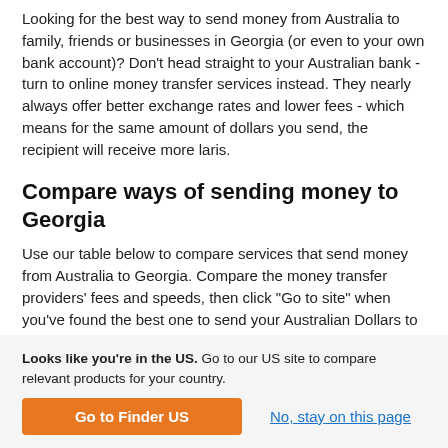Looking for the best way to send money from Australia to family, friends or businesses in Georgia (or even to your own bank account)? Don't head straight to your Australian bank - turn to online money transfer services instead. They nearly always offer better exchange rates and lower fees - which means for the same amount of dollars you send, the recipient will receive more laris.
Compare ways of sending money to Georgia
Use our table below to compare services that send money from Australia to Georgia. Compare the money transfer providers' fees and speeds, then click "Go to site" when you've found the best one to send your Australian Dollars to Georgia.
Looks like you're in the US. Go to our US site to compare relevant products for your country.
Go to Finder US
No, stay on this page